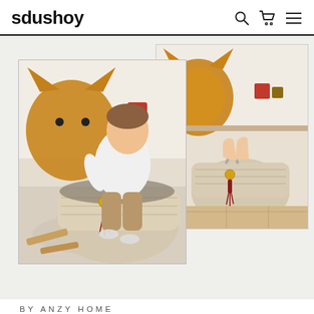sdushoy
[Figure (photo): Two photos side by side: left photo shows a toddler boy leaning into a large crocheted storage basket with a tassel charm, next to a mustard yellow knitted fox-shaped pillow; right photo shows hands lifting the rope handle of a similar crocheted basket with yellow coin and red tassel charm, against the same background.]
BY ANZY HOME